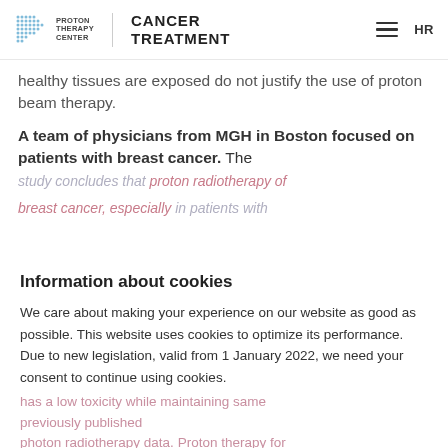Proton Therapy Center | Cancer Treatment | HR
healthy tissues are exposed do not justify the use of proton beam therapy.
A team of physicians from MGH in Boston focused on patients with breast cancer. The study concludes that proton radiotherapy of breast cancer, especially in patients with [text continues behind modal]
Information about cookies
We care about making your experience on our website as good as possible. This website uses cookies to optimize its performance. Due to new legislation, valid from 1 January 2022, we need your consent to continue using cookies.
Accept
Settings
The study is available in the Journal of Clinical [continues]